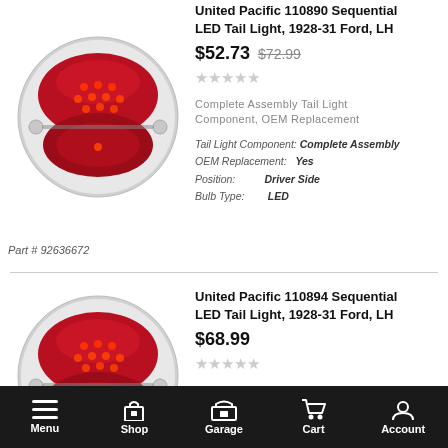United Pacific 110890 Sequential LED Tail Light, 1928-31 Ford, LH
$52.73  $72.99
Complete Assembly Tail Light Component, OEM Replacement
Tail Light Component: Complete Assembly
OEM Replacement: Yes
Position: Driver Side
Bulb Type: LED
Part # 92636672
[Figure (photo): Red circular sequential LED tail light with chrome bezel for 1928-31 Ford]
United Pacific 110894 Sequential LED Tail Light, 1928-31 Ford, LH
$68.99
Complete Assembly Tail Light Component, OEM Replacement
[Figure (photo): Red circular sequential LED tail light with chrome bezel for 1928-31 Ford]
Menu  Shop  Garage  Cart  Account